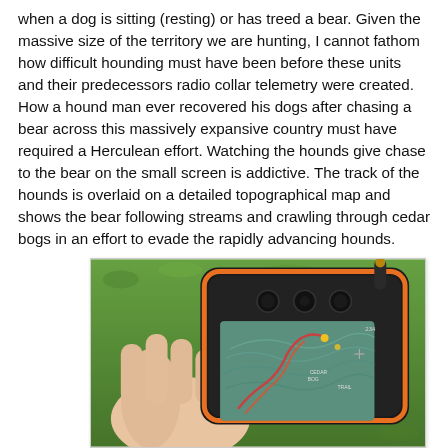when a dog is sitting (resting) or has treed a bear. Given the massive size of the territory we are hunting, I cannot fathom how difficult hounding must have been before these units and their predecessors radio collar telemetry were created. How a hound man ever recovered his dogs after chasing a bear across this massively expansive country must have required a Herculean effort. Watching the hounds give chase to the bear on the small screen is addictive. The track of the hounds is overlaid on a detailed topographical map and shows the bear following streams and crawling through cedar bogs in an effort to evade the rapidly advancing hounds.
[Figure (photo): A hand holding a black and orange GPS tracking device (resembling a Garmin Alpha or similar hound tracker), showing a topographical map on its small screen with colored tracks overlaid. The background is green grass/vegetation.]